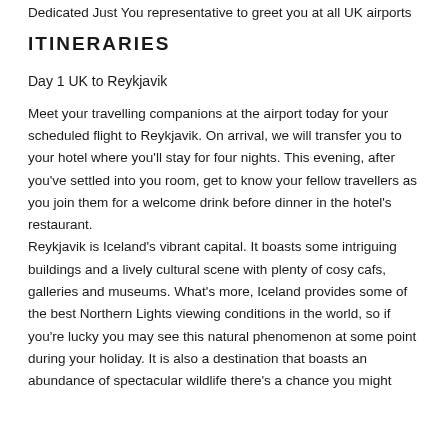Dedicated Just You representative to greet you at all UK airports
ITINERARIES
Day 1 UK to Reykjavik
Meet your travelling companions at the airport today for your scheduled flight to Reykjavik. On arrival, we will transfer you to your hotel where you'll stay for four nights. This evening, after you've settled into you room, get to know your fellow travellers as you join them for a welcome drink before dinner in the hotel's restaurant.
Reykjavik is Iceland's vibrant capital. It boasts some intriguing buildings and a lively cultural scene with plenty of cosy cafs, galleries and museums. What's more, Iceland provides some of the best Northern Lights viewing conditions in the world, so if you're lucky you may see this natural phenomenon at some point during your holiday. It is also a destination that boasts an abundance of spectacular wildlife there's a chance you might